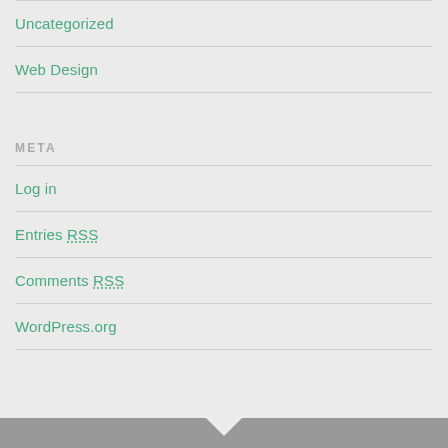Uncategorized
Web Design
META
Log in
Entries RSS
Comments RSS
WordPress.org